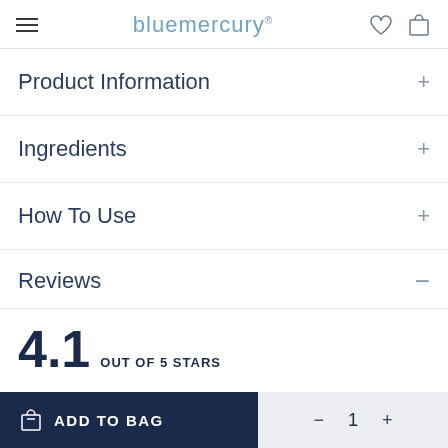bluemercury
Product Information
Ingredients
How To Use
Reviews
4.1 OUT OF 5 STARS
[Figure (bar-chart): Star ratings distribution]
ADD TO BAG $54